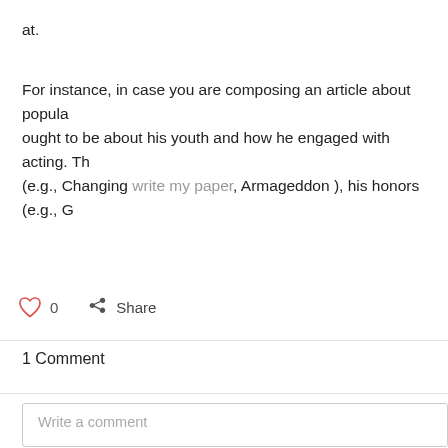at.
For instance, in case you are composing an article about popula ought to be about his youth and how he engaged with acting. Th (e.g., Changing write my paper, Armageddon ), his honors (e.g., G
0
Share
1 Comment
Write a comment